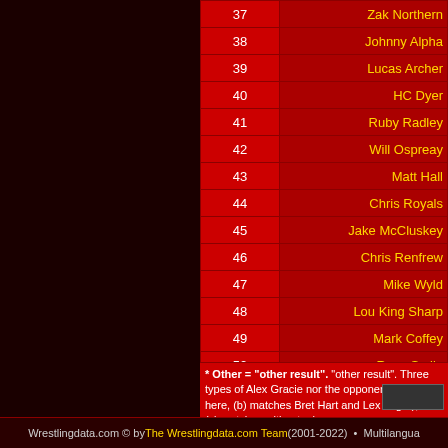| # | Name |
| --- | --- |
| 37 | Zak Northern |
| 38 | Johnny Alpha |
| 39 | Lucas Archer |
| 40 | HC Dyer |
| 41 | Ruby Radley |
| 42 | Will Ospreay |
| 43 | Matt Hall |
| 44 | Chris Royals |
| 45 | Jake McCluskey |
| 46 | Chris Renfrew |
| 47 | Mike Wyld |
| 48 | Lou King Sharp |
| 49 | Mark Coffey |
| 50 | Ryan Smile |
* Other = "other result". "other result". Three types of... Alex Gracie nor the opponent listed here, (b) matches... Bret Hart and Lex Luger), and (c) matches without a kn...
Wrestlingdata.com © by The Wrestlingdata.com Team (2001-2022) • Multilangua...